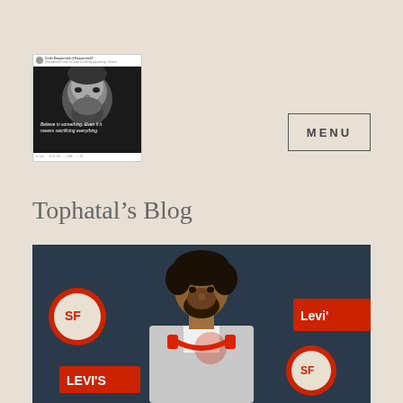[Figure (screenshot): Twitter/social media post showing a black-and-white Nike advertisement of Colin Kaepernick with text 'Believe in something. Even if it means sacrificing everything.' The tweet is a small thumbnail screenshot.]
[Figure (other): MENU button with border, uppercase bold text with letter spacing]
Tophatal’s Blog
[Figure (photo): Colin Kaepernick in a grey suit wearing red Beats headphones around his neck, standing in front of San Francisco 49ers and Levi's branded backdrop at a press conference.]